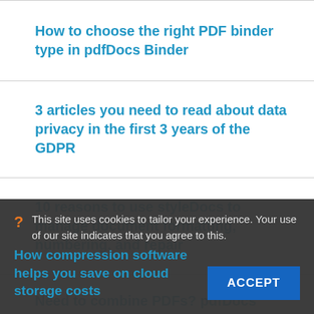How to choose the right PDF binder type in pdfDocs Binder
3 articles you need to read about data privacy in the first 3 years of the GDPR
10 reasons to use styleDocs to manage document formatting, numbering, and repair
Need to combine PDFs? pdfDocs makes it easy with Binder Project Mode.
How compression software helps you save on cloud storage costs
This site uses cookies to tailor your experience. Your use of our site indicates that you agree to this.
ACCEPT